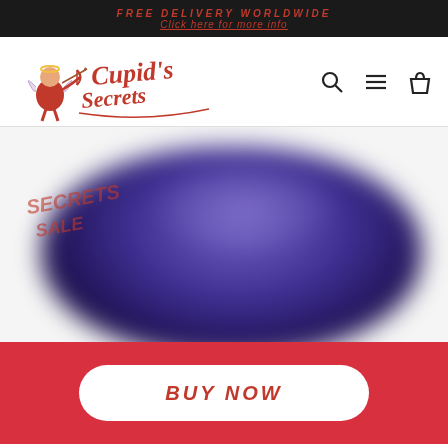FREE DELIVERY WORLDWIDE
Click here for more info
[Figure (logo): Cupid's Secrets brand logo with a red cupid angel character and cursive script text]
[Figure (photo): Blurred close-up product photo of a dark purple/navy rounded object against white background, with a red italic sale/discount stamp overlay in upper left]
BUY NOW